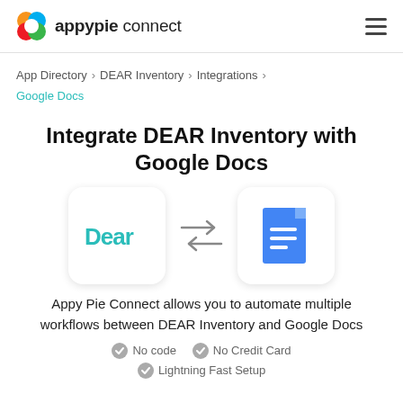appypie connect
App Directory > DEAR Inventory > Integrations > Google Docs
Integrate DEAR Inventory with Google Docs
[Figure (illustration): DEAR Inventory logo and Google Docs logo with bidirectional arrows between them]
Appy Pie Connect allows you to automate multiple workflows between DEAR Inventory and Google Docs
No code
No Credit Card
Lightning Fast Setup